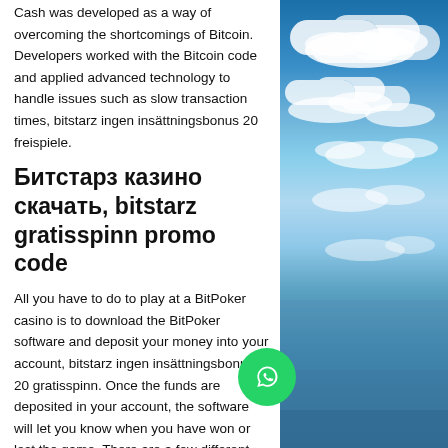Cash was developed as a way of overcoming the shortcomings of Bitcoin. Developers worked with the Bitcoin code and applied advanced technology to handle issues such as slow transaction times, bitstarz ingen insättningsbonus 20 freispiele.
Битстарз казино скачать, bitstarz gratisspinn promo code
All you have to do to play at a BitPoker casino is to download the BitPoker software and deposit your money into your account, bitstarz ingen insättningsbonus 20 gratisspinn. Once the funds are deposited in your account, the software will let you know when you have won or lost the game. There are a few different ways that you can win at a BitPoker casino. In essence, the former any casino or betting agency that supports wagering in Bitcoin either in preference or
[Figure (photo): Aerial photograph of sky with clouds and ocean/land visible below, taken from high altitude]